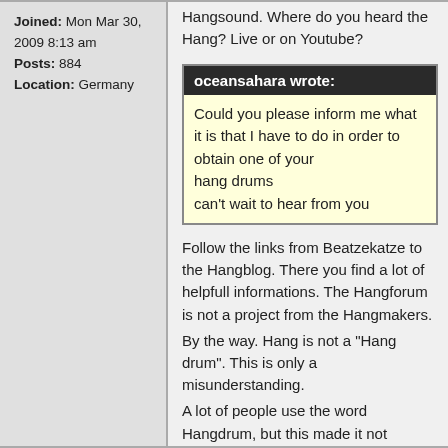Joined: Mon Mar 30, 2009 8:13 am
Posts: 884
Location: Germany
Hangsound. Where do you heard the Hang? Live or on Youtube?
oceansahara wrote:
Could you please inform me what it is that I have to do in order to obtain one of your hang drums
can't wait to hear from you
Follow the links from Beatzekatze to the Hangblog. There you find a lot of helpfull informations. The Hangforum is not a project from the Hangmakers.
By the way. Hang is not a "Hang drum". This is only a misunderstanding.
A lot of people use the word Hangdrum, but this made it not correct.